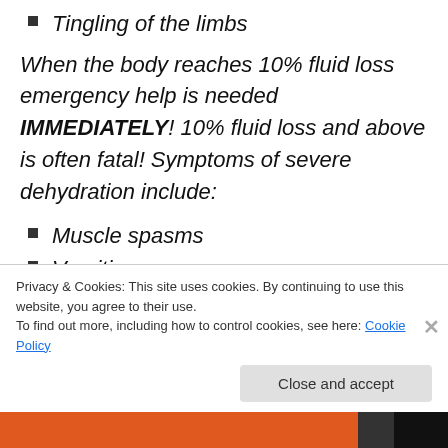Tingling of the limbs
When the body reaches 10% fluid loss emergency help is needed IMMEDIATELY! 10% fluid loss and above is often fatal! Symptoms of severe dehydration include:
Muscle spasms
Vomiting
Racing pulse
Shriveled skin
Dim vision
Painful urination
Privacy & Cookies: This site uses cookies. By continuing to use this website, you agree to their use. To find out more, including how to control cookies, see here: Cookie Policy